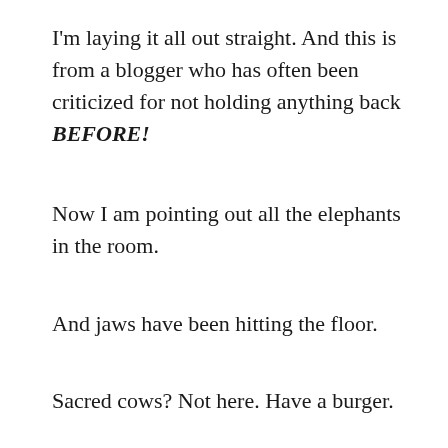I'm laying it all out straight. And this is from a blogger who has often been criticized for not holding anything back BEFORE!
Now I am pointing out all the elephants in the room.
And jaws have been hitting the floor.
Sacred cows? Not here. Have a burger.
So if you have been holding out all the…